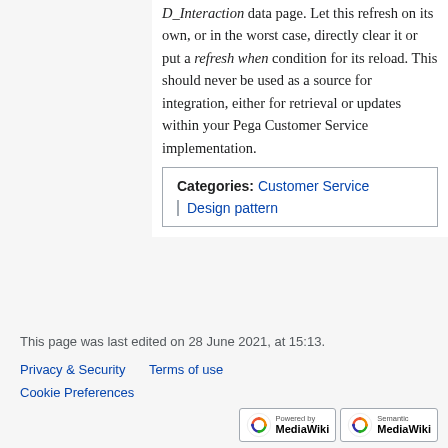D_Interaction data page. Let this refresh on its own, or in the worst case, directly clear it or put a refresh when condition for its reload. This should never be used as a source for integration, either for retrieval or updates within your Pega Customer Service implementation.
Categories: Customer Service | Design pattern
This page was last edited on 28 June 2021, at 15:13.
Privacy & Security   Terms of use
Cookie Preferences
[Figure (logo): Powered by MediaWiki and Semantic MediaWiki badges]